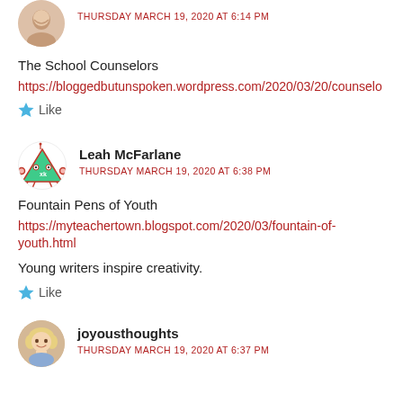[Figure (photo): Circular avatar photo of a person (partially visible at top)]
THURSDAY MARCH 19, 2020 AT 6:14 PM
The School Counselors
https://bloggedbutunspoken.wordpress.com/2020/03/20/counselo
★ Like
[Figure (illustration): Cartoon crab avatar for Leah McFarlane]
Leah McFarlane
THURSDAY MARCH 19, 2020 AT 6:38 PM
Fountain Pens of Youth
https://myteachertown.blogspot.com/2020/03/fountain-of-youth.html
Young writers inspire creativity.
★ Like
[Figure (photo): Circular avatar photo of a blonde woman (joyousthoughts)]
joyousthoughts
THURSDAY MARCH 19, 2020 AT 6:37 PM